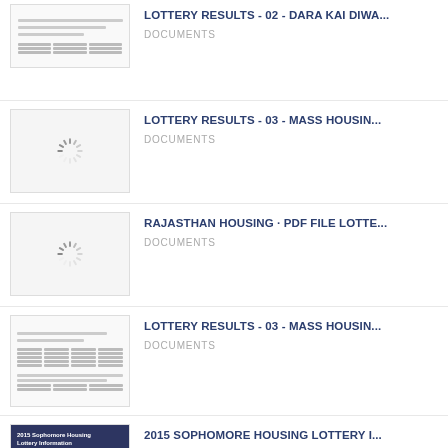LOTTERY RESULTS - 02 - DARA KAI DIWA... | DOCUMENTS
LOTTERY RESULTS - 03 - MASS HOUSIN... | DOCUMENTS
RAJASTHAN HOUSING · PDF FILE LOTTE... | DOCUMENTS
LOTTERY RESULTS - 03 - MASS HOUSIN... | DOCUMENTS
2015 SOPHOMORE HOUSING LOTTERY I... | DOCUMENTS